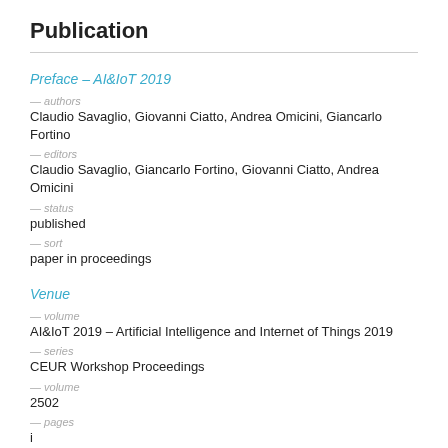Publication
Preface – AI&IoT 2019
— authors
Claudio Savaglio, Giovanni Ciatto, Andrea Omicini, Giancarlo Fortino
— editors
Claudio Savaglio, Giancarlo Fortino, Giovanni Ciatto, Andrea Omicini
— status
published
— sort
paper in proceedings
Venue
— volume
AI&IoT 2019 – Artificial Intelligence and Internet of Things 2019
— series
CEUR Workshop Proceedings
— volume
2502
— pages
i
— publication date
November 2019